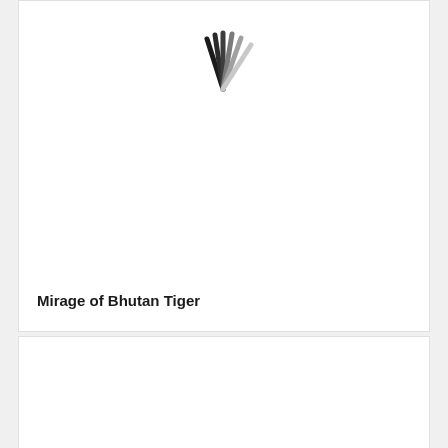[Figure (other): Loading spinner icon (radial lines in dark to light gray) displayed inside a white card panel, indicating content is loading]
Mirage of Bhutan Tiger
[Figure (other): Second white card panel below, empty/loading state with no visible content]